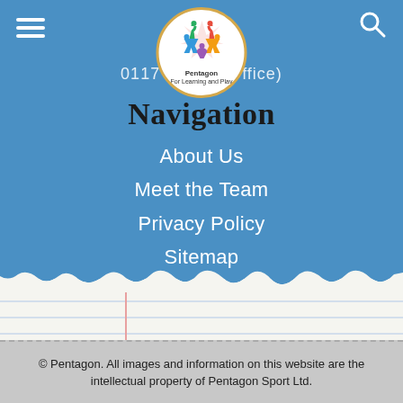[Figure (logo): Pentagon Sport logo in circular badge with gold border, colorful star figure made of people shapes, text 'Pentagon For Learning and Play']
0117 379 ... (Office)
Navigation
About Us
Meet the Team
Privacy Policy
Sitemap
© Pentagon. All images and information on this website are the intellectual property of Pentagon Sport Ltd.